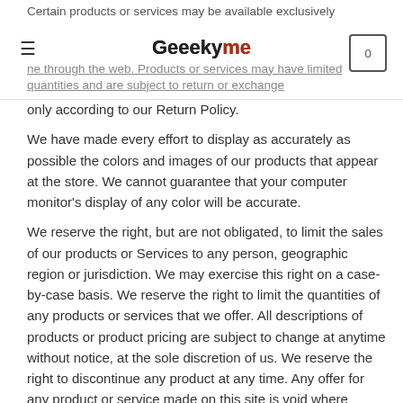Geeekyme
only according to our Return Policy.
We have made every effort to display as accurately as possible the colors and images of our products that appear at the store. We cannot guarantee that your computer monitor’s display of any color will be accurate.
We reserve the right, but are not obligated, to limit the sales of our products or Services to any person, geographic region or jurisdiction. We may exercise this right on a case-by-case basis. We reserve the right to limit the quantities of any products or services that we offer. All descriptions of products or product pricing are subject to change at anytime without notice, at the sole discretion of us. We reserve the right to discontinue any product at any time. Any offer for any product or service made on this site is void where prohibited.